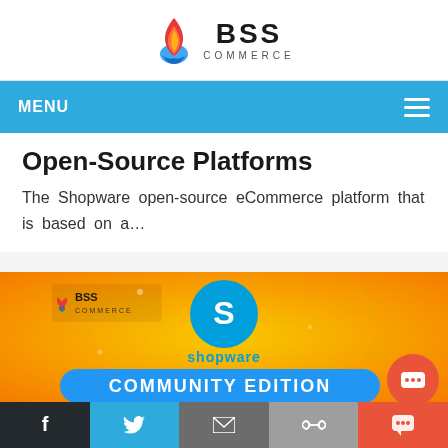[Figure (logo): BSS Commerce logo with flame icon and text BSS COMMERCE]
MENU
Open-Source Platforms
The Shopware open-source eCommerce platform that is based on a...
[Figure (illustration): BSS Commerce banner featuring Shopware Community Edition branding on a yellow/orange background with blue Shopware logo]
Social share bar: Facebook, Twitter, Email, Link, Chat